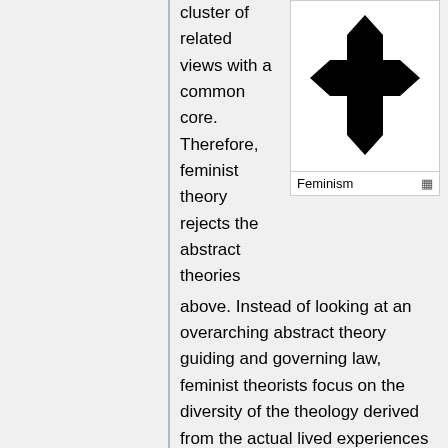cluster of related views with a common core. Therefore, feminist theory rejects the abstract theories above. Instead of looking at an overarching abstract theory guiding and governing law, feminist theorists focus on the diversity of the theology derived from the actual lived experiences of women, keeping in mind that not all women have the same shared experiences. It is through this lens that it examines law. Feminists note that women have traditionally been silent subjects in law. Law is traditionally thought of through the aspect of the 'reasonable man' and the strength of
[Figure (illustration): Black cross symbol (Iron Cross / Teutonic cross) on white background within a bordered infobox]
Feminism